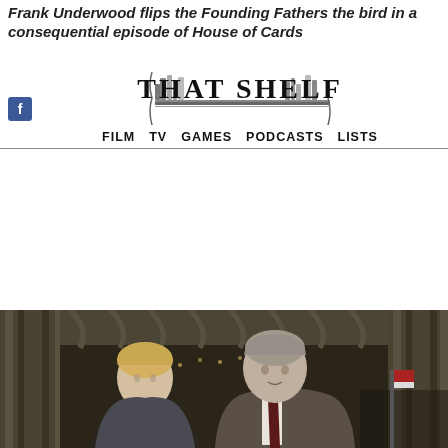Frank Underwood flips the Founding Fathers the bird in a consequential episode of House of Cards
[Figure (logo): That Shelf website logo with book/shelf illustration and navigation bar reading FILM TV GAMES PODCASTS LISTS]
[Figure (photo): A man and woman standing in an ornate room with drapes, looking upward — characters from House of Cards TV show]